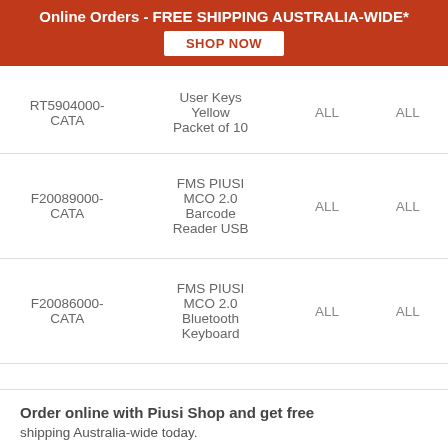Online Orders - FREE SHIPPING AUSTRALIA-WIDE*  SHOP NOW
| Code | Name | Col1 | Col2 |
| --- | --- | --- | --- |
| RT5904000-CATA | User Keys Yellow Packet of 10 | ALL | ALL |
| F20089000-CATA | FMS PIUSI MCO 2.0 Barcode Reader USB | ALL | ALL |
| F20086000-CATA | FMS PIUSI MCO 2.0 Bluetooth Keyboard | ALL | ALL |
Order online with Piusi Shop and get free shipping Australia-wide today.